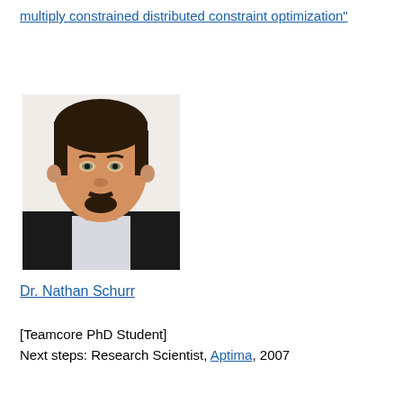multiply constrained distributed constraint optimization"
[Figure (photo): Headshot photo of Dr. Nathan Schurr, a man with dark hair and a goatee wearing a dark suit jacket and light shirt, photographed against a white background.]
Dr. Nathan Schurr
[Teamcore PhD Student]
Next steps: Research Scientist, Aptima, 2007